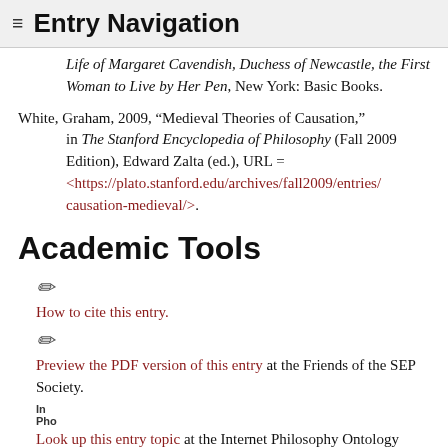≡ Entry Navigation
Life of Margaret Cavendish, Duchess of Newcastle, the First Woman to Live by Her Pen, New York: Basic Books.
White, Graham, 2009, "Medieval Theories of Causation," in The Stanford Encyclopedia of Philosophy (Fall 2009 Edition), Edward Zalta (ed.), URL = <https://plato.stanford.edu/archives/fall2009/entries/causation-medieval/>.
Academic Tools
How to cite this entry.
Preview the PDF version of this entry at the Friends of the SEP Society.
Look up this entry topic at the Internet Philosophy Ontology Project (InPhO).